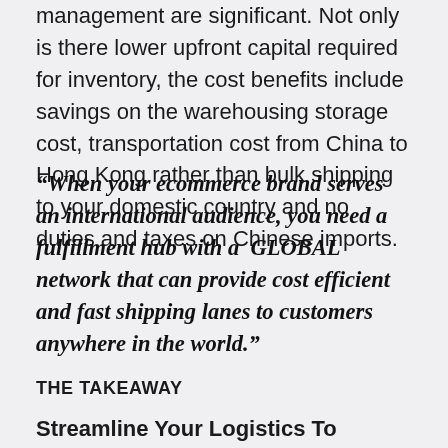management are significant. Not only is there lower upfront capital required for inventory, the cost benefits include savings on the warehousing storage cost, transportation cost from China to Hong Kong rather than bulk shipping to your domestic country and no duties and taxes on Chinese imports.
“When your ecommerce brand serves an international audience, you need a fulfillment hub with a GLOBAL network that can provide cost efficient and fast shipping lanes to customers anywhere in the world.”
THE TAKEAWAY
Streamline Your Logistics To Support Your Brand’s